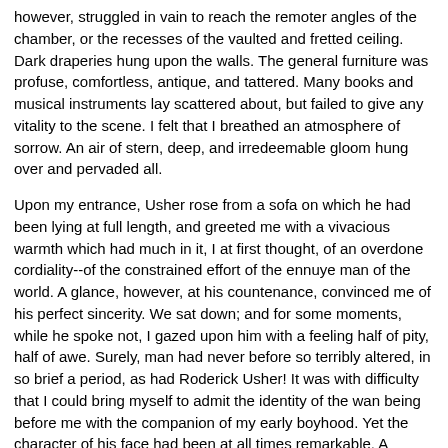however, struggled in vain to reach the remoter angles of the chamber, or the recesses of the vaulted and fretted ceiling. Dark draperies hung upon the walls. The general furniture was profuse, comfortless, antique, and tattered. Many books and musical instruments lay scattered about, but failed to give any vitality to the scene. I felt that I breathed an atmosphere of sorrow. An air of stern, deep, and irredeemable gloom hung over and pervaded all.
Upon my entrance, Usher rose from a sofa on which he had been lying at full length, and greeted me with a vivacious warmth which had much in it, I at first thought, of an overdone cordiality--of the constrained effort of the ennuye man of the world. A glance, however, at his countenance, convinced me of his perfect sincerity. We sat down; and for some moments, while he spoke not, I gazed upon him with a feeling half of pity, half of awe. Surely, man had never before so terribly altered, in so brief a period, as had Roderick Usher! It was with difficulty that I could bring myself to admit the identity of the wan being before me with the companion of my early boyhood. Yet the character of his face had been at all times remarkable. A cadaverousness of complexion; an eye large, liquid, and luminous beyond comparison; lips somewhat thin and very pallid, but of a surpassingly beautiful curve; a nose of a delicate Hebrew model, but with a breadth of nostril unusual in similar formations; a finely-moulded chin, speaking, in its want of prominence, of a want of moral energy; hair of a more than web-like softness and tenuity; these features, with an inordinate expansion above the regions of the temple, made up altogether a countenance not easily to be forgotten. And now in the mere exaggeration of the prevailing character of these features, and of the expression they were wont to convey, lay so much of change that I doubted to whom I spoke. The now ghastly pallor of the skin, and the now miraculous lustre of the eye, above all things startled and even awed me. The silken hair, too,